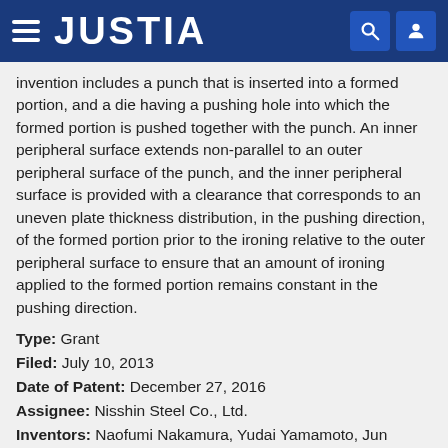JUSTIA
invention includes a punch that is inserted into a formed portion, and a die having a pushing hole into which the formed portion is pushed together with the punch. An inner peripheral surface extends non-parallel to an outer peripheral surface of the punch, and the inner peripheral surface is provided with a clearance that corresponds to an uneven plate thickness distribution, in the pushing direction, of the formed portion prior to the ironing relative to the outer peripheral surface to ensure that an amount of ironing applied to the formed portion remains constant in the pushing direction.
Type: Grant
Filed: July 10, 2013
Date of Patent: December 27, 2016
Assignee: Nisshin Steel Co., Ltd.
Inventors: Naofumi Nakamura, Yudai Yamamoto, Jun Kuraba